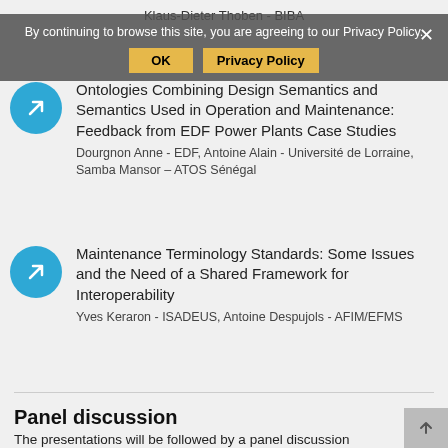Klaus-Dieter Thoben - BIBA
Ontologies Combining Design Semantics and Semantics Used in Operation and Maintenance: Feedback from EDF Power Plants Case Studies
Dourgnon Anne - EDF, Antoine Alain - Université de Lorraine, Samba Mansor – ATOS Sénégal
Maintenance Terminology Standards: Some Issues and the Need of a Shared Framework for Interoperability
Yves Keraron - ISADEUS, Antoine Despujols - AFIM/EFMS
Panel discussion
The presentations will be followed by a panel discussion